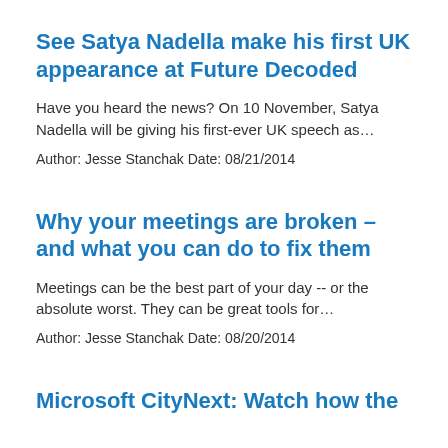See Satya Nadella make his first UK appearance at Future Decoded
Have you heard the news? On 10 November, Satya Nadella will be giving his first-ever UK speech as…
Author: Jesse Stanchak Date: 08/21/2014
Why your meetings are broken – and what you can do to fix them
Meetings can be the best part of your day -- or the absolute worst. They can be great tools for…
Author: Jesse Stanchak Date: 08/20/2014
Microsoft CityNext: Watch how the